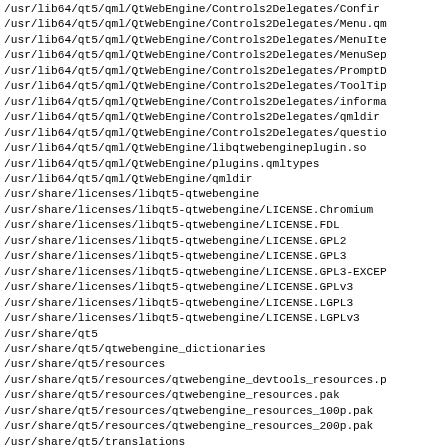/usr/lib64/qt5/qml/QtWebEngine/Controls2Delegates/Confir
/usr/lib64/qt5/qml/QtWebEngine/Controls2Delegates/Menu.qm
/usr/lib64/qt5/qml/QtWebEngine/Controls2Delegates/MenuIte
/usr/lib64/qt5/qml/QtWebEngine/Controls2Delegates/MenuSep
/usr/lib64/qt5/qml/QtWebEngine/Controls2Delegates/PromptD
/usr/lib64/qt5/qml/QtWebEngine/Controls2Delegates/ToolTip
/usr/lib64/qt5/qml/QtWebEngine/Controls2Delegates/informa
/usr/lib64/qt5/qml/QtWebEngine/Controls2Delegates/qmldir
/usr/lib64/qt5/qml/QtWebEngine/Controls2Delegates/questio
/usr/lib64/qt5/qml/QtWebEngine/libqtwebengineplugin.so
/usr/lib64/qt5/qml/QtWebEngine/plugins.qmltypes
/usr/lib64/qt5/qml/QtWebEngine/qmldir
/usr/share/licenses/libqt5-qtwebengine
/usr/share/licenses/libqt5-qtwebengine/LICENSE.Chromium
/usr/share/licenses/libqt5-qtwebengine/LICENSE.FDL
/usr/share/licenses/libqt5-qtwebengine/LICENSE.GPL2
/usr/share/licenses/libqt5-qtwebengine/LICENSE.GPL3
/usr/share/licenses/libqt5-qtwebengine/LICENSE.GPL3-EXCEP
/usr/share/licenses/libqt5-qtwebengine/LICENSE.GPLv3
/usr/share/licenses/libqt5-qtwebengine/LICENSE.LGPL3
/usr/share/licenses/libqt5-qtwebengine/LICENSE.LGPLv3
/usr/share/qt5
/usr/share/qt5/qtwebengine_dictionaries
/usr/share/qt5/resources
/usr/share/qt5/resources/qtwebengine_devtools_resources.p
/usr/share/qt5/resources/qtwebengine_resources.pak
/usr/share/qt5/resources/qtwebengine_resources_100p.pak
/usr/share/qt5/resources/qtwebengine_resources_200p.pak
/usr/share/qt5/translations
/usr/share/qt5/translations/qtwebengine_locales